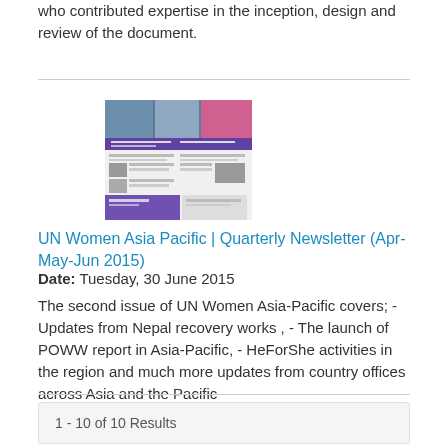who contributed expertise in the inception, design and review of the document.
[Figure (screenshot): Thumbnail image of UN Women Asia Pacific Quarterly Newsletter cover page showing photos and layout of the newsletter]
UN Women Asia Pacific | Quarterly Newsletter (Apr-May-Jun 2015)
Date: Tuesday, 30 June 2015
The second issue of UN Women Asia-Pacific covers; - Updates from Nepal recovery works , - The launch of POWW report in Asia-Pacific, - HeForShe activities in the region and much more updates from country offices across Asia and the Pacific
1 - 10 of 10 Results